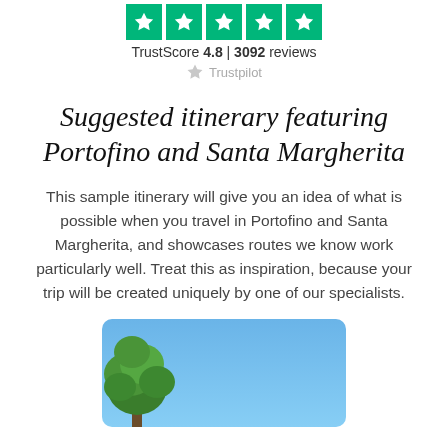[Figure (logo): Trustpilot rating widget showing 5 green star boxes with TrustScore 4.8 and 3092 reviews, with Trustpilot logo]
Suggested itinerary featuring Portofino and Santa Margherita
This sample itinerary will give you an idea of what is possible when you travel in Portofino and Santa Margherita, and showcases routes we know work particularly well. Treat this as inspiration, because your trip will be created uniquely by one of our specialists.
[Figure (photo): Outdoor photo showing blue sky with tree foliage visible in lower left corner]